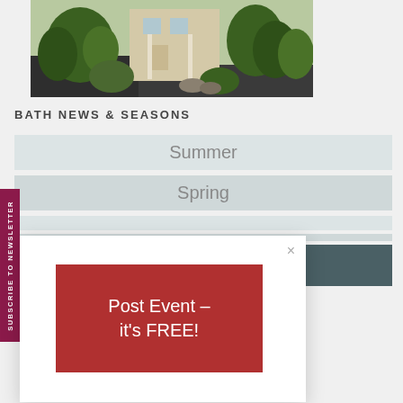[Figure (photo): Exterior photo of a stone building with green trees and shrubs, driveway visible]
BATH NEWS & SEASONS
Summer
Spring
[Figure (screenshot): Modal popup with a red button saying 'Post Event – it's FREE!' and a close X button]
SUBSCRIBE TO NEWSLETTER